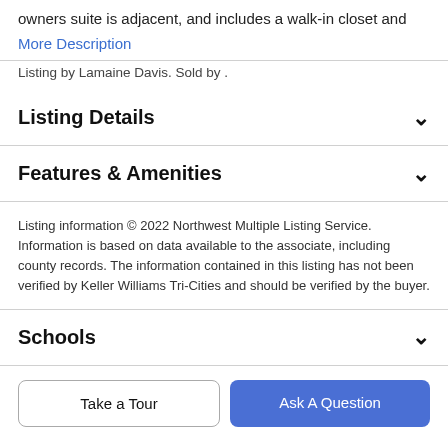owners suite is adjacent, and includes a walk-in closet and
More Description
Listing by Lamaine Davis. Sold by .
Listing Details
Features & Amenities
Listing information © 2022 Northwest Multiple Listing Service. Information is based on data available to the associate, including county records. The information contained in this listing has not been verified by Keller Williams Tri-Cities and should be verified by the buyer.
Schools
Take a Tour
Ask A Question